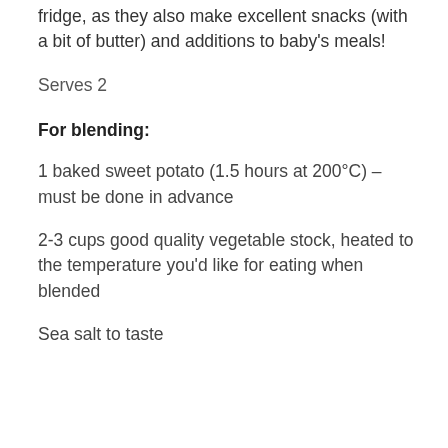fridge, as they also make excellent snacks (with a bit of butter) and additions to baby's meals!
Serves 2
For blending:
1 baked sweet potato (1.5 hours at 200°C) – must be done in advance
2-3 cups good quality vegetable stock, heated to the temperature you'd like for eating when blended
Sea salt to taste